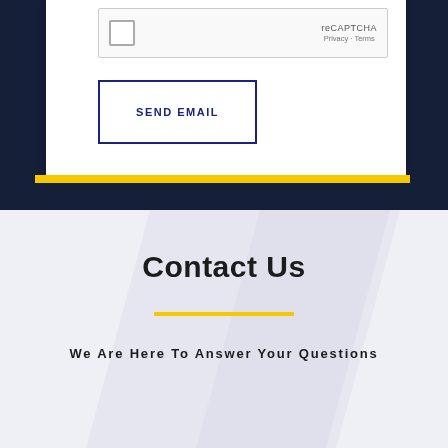[Figure (screenshot): reCAPTCHA widget with checkbox and 'reCAPTCHA Privacy - Terms' text on right]
SEND EMAIL
Contact Us
We Are Here To Answer Your Questions